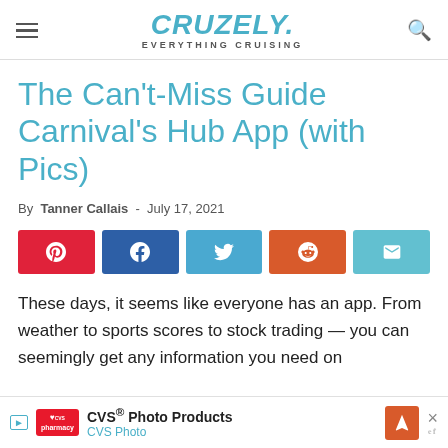CRUZELY. EVERYTHING CRUISING
The Can't-Miss Guide Carnival's Hub App (with Pics)
By Tanner Callais - July 17, 2021
[Figure (infographic): Social share buttons: Pinterest (red), Facebook (dark blue), Twitter (light blue), Reddit (orange-red), Email (teal)]
These days, it seems like everyone has an app. From weather to sports scores to stock trading — you can seemingly get any information you need on...
[Figure (infographic): CVS Photo Products advertisement banner at the bottom of the page with CVS logo, navigation icon, and close button]